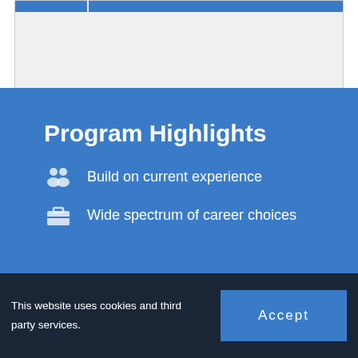[Figure (screenshot): Top partial view of a webpage showing a blue navigation bar or chart element on a light grey background]
Program Highlights
Build on current experience
Wide spectrum of career choices
This website uses cookies and third party services.
Accept